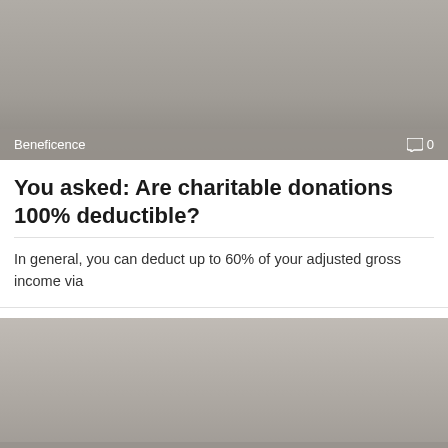[Figure (photo): Gray placeholder image with 'Beneficence' label and comment count '0' at the bottom]
You asked: Are charitable donations 100% deductible?
In general, you can deduct up to 60% of your adjusted gross income via
[Figure (photo): Gray placeholder image with 'Beneficence' label and comment count '0' at the bottom]
You asked: Are charitable donations